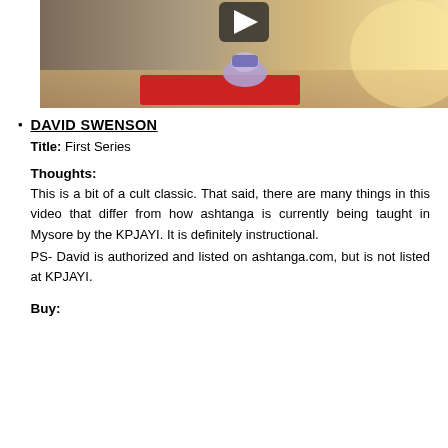[Figure (photo): A person practicing yoga on a red mat in a studio with bright natural light. A play button icon is visible at the top center of the image.]
DAVID SWENSON
Title: First Series

Thoughts:
This is a bit of a cult classic. That said, there are many things in this video that differ from how ashtanga is currently being taught in Mysore by the KPJAYI. It is definitely instructional.
PS- David is authorized and listed on ashtanga.com, but is not listed at KPJAYI.

Buy: